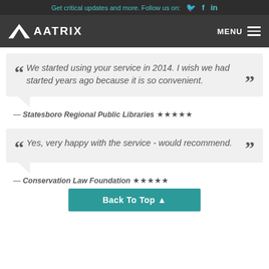Get critical updates and more. Follow us on:
[Figure (logo): Aatrix logo with mountain/triangle icon and AATRIX text in white on dark background, with MENU hamburger button]
We started using your service in 2014. I wish we had started years ago because it is so convenient.
— Statesboro Regional Public Libraries ★★★★★
Yes, very happy with the service - would recommend.
— Conservation Law Foundation ★★★★★
Back To Top ↑